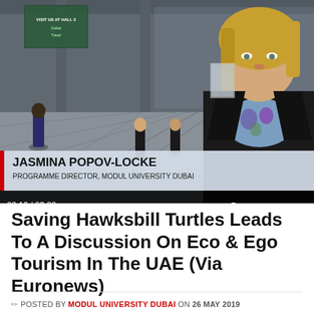[Figure (screenshot): Video player screenshot showing a woman (Jasmina Popov-Locke, Programme Director, Modul University Dubai) being interviewed at what appears to be a conference or exhibition hall. Lower third graphic shows her name and title. Progress bar at bottom shows 02:16 / 03:00.]
Saving Hawksbill Turtles Leads To A Discussion On Eco & Ego Tourism In The UAE (Via Euronews)
POSTED BY MODUL UNIVERSITY DUBAI ON 26 MAY 2019